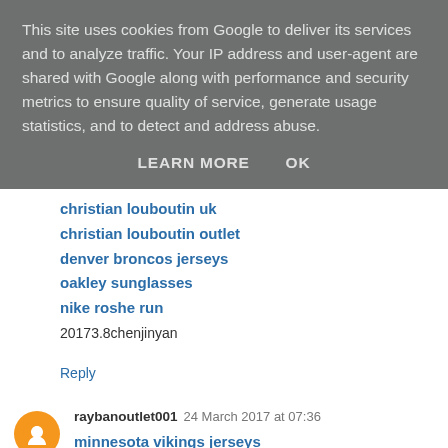This site uses cookies from Google to deliver its services and to analyze traffic. Your IP address and user-agent are shared with Google along with performance and security metrics to ensure quality of service, generate usage statistics, and to detect and address abuse.
LEARN MORE   OK
christian louboutin uk
christian louboutin outlet
denver broncos jerseys
oakley sunglasses
nike roshe run
20173.8chenjinyan
Reply
raybanoutlet001   24 March 2017 at 07:36
minnesota vikings jerseys
ecco shoes
michael kors outlet
michael kors handbags